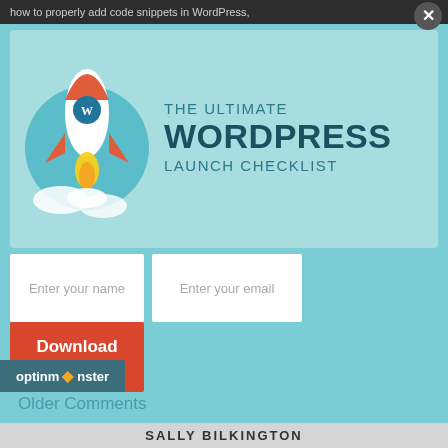how to properly add code snippets in WordPress,
[Figure (illustration): Popup modal with teal background showing a rocket ship illustration on the left with the WordPress logo on the rocket. Right side shows text: THE ULTIMATE WORDPRESS LAUNCH CHECKLIST in teal/dark blue colors. Below are form fields: Enter your name, Enter your email, and a Download Now red button.]
Enter your name
Enter your email
Download Now
[Figure (logo): OptinMonster logo in dark teal bar at bottom left]
Older Comments
SALLY BILKINGTON